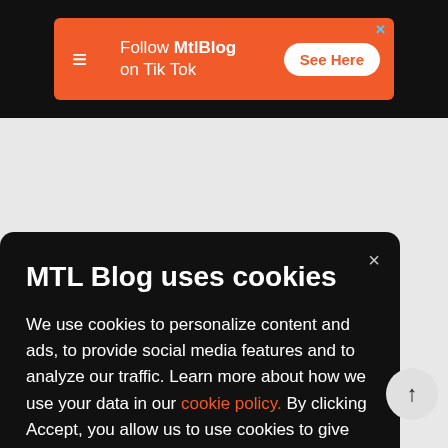[Figure (infographic): Orange advertisement banner for MtlBlog TikTok with logo, text 'Follow MtlBlog on Tik Tok', and 'See Here' button, on black background]
MTL Blog uses cookies
We use cookies to personalize content and ads, to provide social media features and to analyze our traffic. Learn more about how we use your data in our cookie policy. By clicking Accept, you allow us to use cookies to give you the best experience on site.
Accept